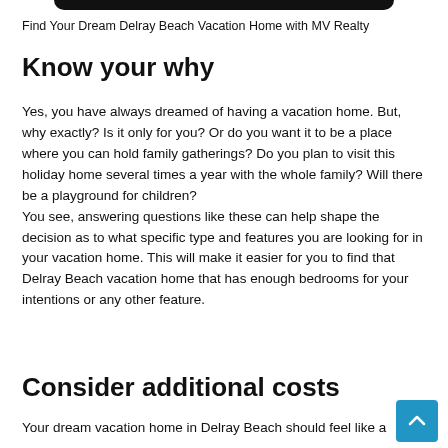[Figure (other): Dark rounded bottom bar at top of page (mobile browser UI element)]
Find Your Dream Delray Beach Vacation Home with MV Realty
Know your why
Yes, you have always dreamed of having a vacation home. But, why exactly? Is it only for you? Or do you want it to be a place where you can hold family gatherings? Do you plan to visit this holiday home several times a year with the whole family? Will there be a playground for children?
You see, answering questions like these can help shape the decision as to what specific type and features you are looking for in your vacation home. This will make it easier for you to find that Delray Beach vacation home that has enough bedrooms for your intentions or any other feature.
Consider additional costs
Your dream vacation home in Delray Beach should feel like a